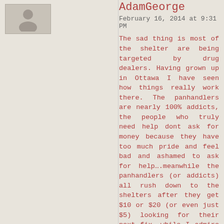[Figure (illustration): User avatar placeholder image - grey box with a person silhouette]
AdamGeorge
February 16, 2014 at 9:31 PM
The sad thing is most of the shelter are being targeted by drug dealers. Having grown up in Ottawa I have seen how things really work there. The panhandlers are nearly 100% addicts, the people who truly need help dont ask for money because they have too much pride and feel bad and ashamed to ask for help….meanwhile the panhandlers (or addicts) all rush down to the shelters after they get $10 or $20 (or even just $5) looking for their next fix….while I admire the shelters for their selfless assistence to the community, truth is people